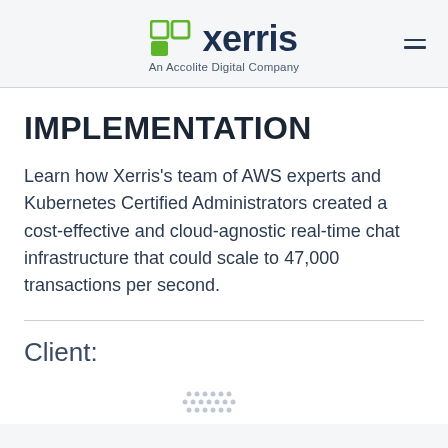Xerris — An Accolite Digital Company
IMPLEMENTATION
Learn how Xerris's team of AWS experts and Kubernetes Certified Administrators created a cost-effective and cloud-agnostic real-time chat infrastructure that could scale to 47,000 transactions per second.
Client:
[Figure (logo): Partial dotted logo/branding mark at bottom of page]